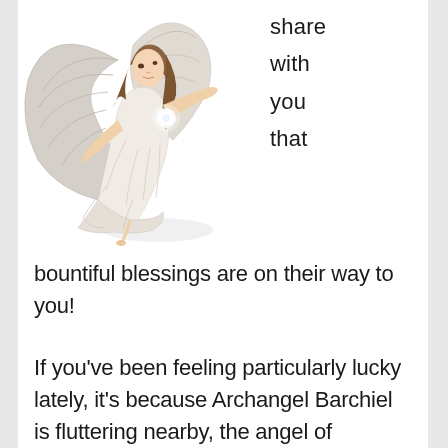[Figure (illustration): An illustrated angel with large white feathered wings, wearing a flowing white dress, with long brown hair, posed in a graceful floating position with one arm outstretched. A bright light glows at the center of the figure.]
share
with
you
that
bountiful blessings are on their way to you!
If you've been feeling particularly lucky lately, it's because Archangel Barchiel is fluttering nearby, the angel of blessings from God.